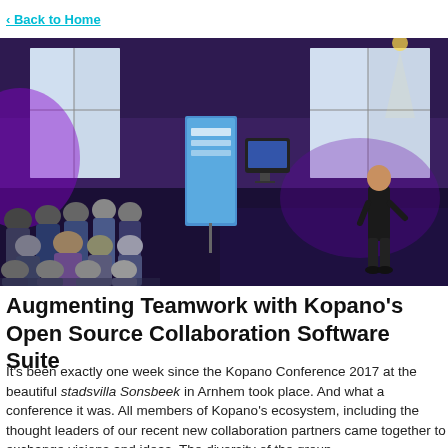Back to Home
[Figure (photo): A presenter stands on a stage addressing a seated audience at the Kopano Conference 2017. The venue is a stylish room with purple ambient lighting, large windows, and Kopano branded banners. Attendees are seated in rows facing the speaker.]
Augmenting Teamwork with Kopano's Open Source Collaboration Software Suite
It's been exactly one week since the Kopano Conference 2017 at the beautiful stadsvilla Sonsbeek in Arnhem took place. And what a conference it was. All members of Kopano's ecosystem, including the thought leaders of our recent new collaboration partners came together to exchange visions and ideas. The diversity of the group